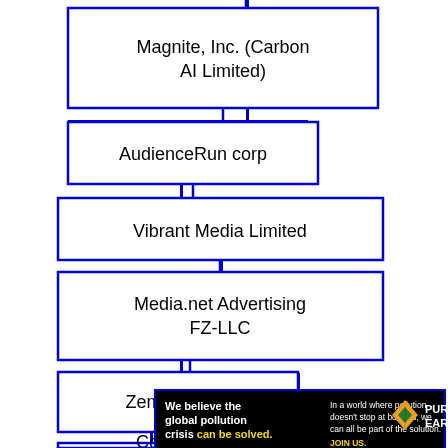[Figure (organizational-chart): Organizational chart / flowchart showing a vertical list of company nodes connected by lines. Nodes from top to bottom: Magnite, Inc. (Carbon AI Limited), AudienceRun corp, Vibrant Media Limited, Media.net Advertising FZ-LLC, Zemanta Inc., Commanders Act, and a partially visible node at the bottom.]
[Figure (other): Advertisement banner for Pure Earth: 'We believe the global pollution crisis can be solved.' with Pure Earth logo.]